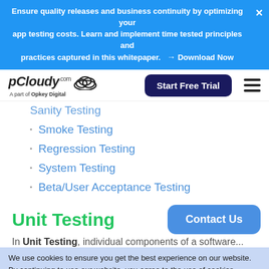Ensure quality releases and business continuity by optimizing your app testing costs. Learn and implement time tested principles and practices captured in this whitepaper. → Download Now
[Figure (logo): pCloudy.com logo with cloud icon and tagline 'A part of Opkey Digital']
Sanity Testing
Smoke Testing
Regression Testing
System Testing
Beta/User Acceptance Testing
Unit Testing
In Unit Testing, individual components of a software...
We use cookies to ensure you get the best experience on our website. By continuing to use our website, you agree to the use of cookies. Privacy Policy
Accept